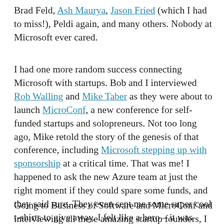Brad Feld, Ash Maurya, Jason Fried (which I had to miss!), Peldi again, and many others. Nobody at Microsoft ever cared.
I had one more random success connecting Microsoft with startups. Bob and I interviewed Rob Walling and Mike Taber as they were about to launch MicroConf, a new conference for self-funded startups and solopreneurs. Not too long ago, Mike retold the story of the genesis of that conference, including Microsoft stepping up with sponsorship at a critical time. That was me! I happened to ask the new Azure team at just the right moment if they could spare some funds, and they said sure. They even sent me some super cool t-shirts to give away. I felt like a hero – it was awesome. Great conference, too – I've been to MicroConf 4 times. I still wear that shirt.
Going to Business of Software and MicroConf and interviewing all these amazing startup founders, I learned